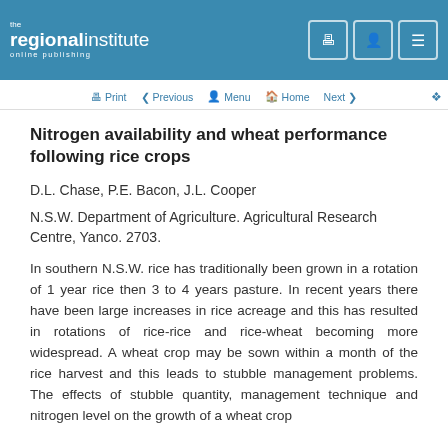the regionalinstitute online publishing
Nitrogen availability and wheat performance following rice crops
D.L. Chase, P.E. Bacon, J.L. Cooper
N.S.W. Department of Agriculture. Agricultural Research Centre, Yanco. 2703.
In southern N.S.W. rice has traditionally been grown in a rotation of 1 year rice then 3 to 4 years pasture. In recent years there have been large increases in rice acreage and this has resulted in rotations of rice-rice and rice-wheat becoming more widespread. A wheat crop may be sown within a month of the rice harvest and this leads to stubble management problems. The effects of stubble quantity, management technique and nitrogen level on the growth of a wheat crop